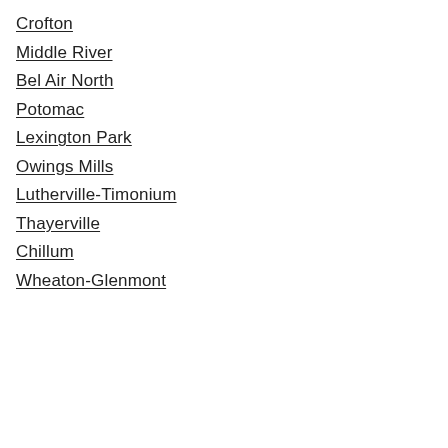Crofton
Middle River
Bel Air North
Potomac
Lexington Park
Owings Mills
Lutherville-Timonium
Thayerville
Chillum
Wheaton-Glenmont